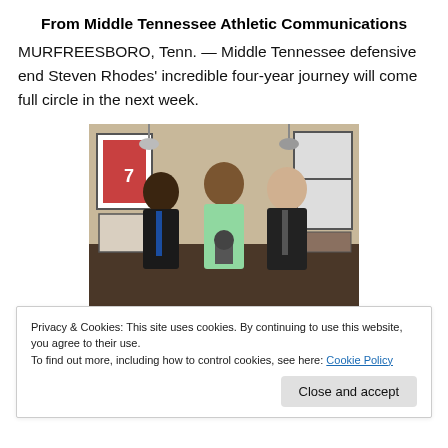From Middle Tennessee Athletic Communications
MURFREESBORO, Tenn. — Middle Tennessee defensive end Steven Rhodes' incredible four-year journey will come full circle in the next week.
[Figure (photo): Three men posing together indoors; the center man in a light green shirt holds a trophy/award, flanked by two men in dark suits. Sports memorabilia visible on walls in background.]
Privacy & Cookies: This site uses cookies. By continuing to use this website, you agree to their use.
To find out more, including how to control cookies, see here: Cookie Policy
Close and accept